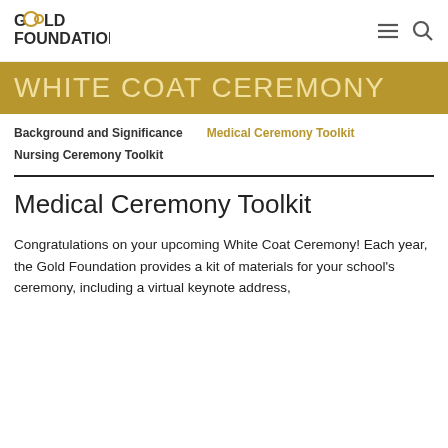[Figure (logo): Gold Foundation logo with stylized letter G and infinity symbol in gold, text GOLD FOUNDATION in dark gray]
WHITE COAT CEREMONY
Background and Significance   Medical Ceremony Toolkit
Nursing Ceremony Toolkit
Medical Ceremony Toolkit
Congratulations on your upcoming White Coat Ceremony! Each year, the Gold Foundation provides a kit of materials for your school's ceremony, including a virtual keynote address,